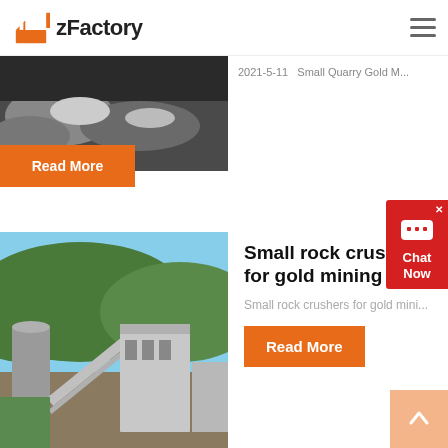zFactory
[Figure (photo): Quarry/mining site with rubble and machinery, black and white / muted tones, partially visible at top]
2021-5-11   Small Quarry Gold M...
Read More
[Figure (photo): Industrial mining/crushing plant facility with silos, conveyor belts and factory buildings against green hills and blue sky]
Small rock crushers for gold mining
Small rock crushers for gold mini...
Read More